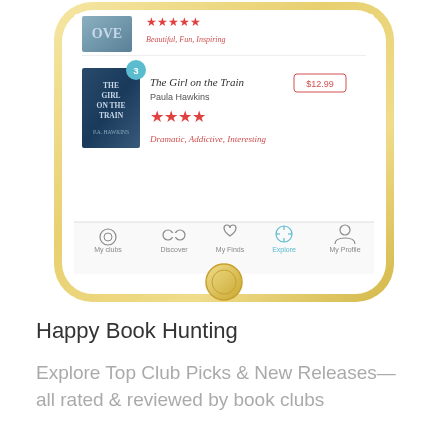[Figure (screenshot): iPhone screenshot showing a book discovery app. Visible content includes a partial book listing with red stars and italic tags 'Beautiful, Fun, Inspiring', then a second listing for 'The Girl on the Train' by Paula Hawkins with a price box showing $12.99, four red stars, and italic tags 'Dramatic, Addictive, Interesting'. A numbered badge '3' appears on the book cover. Bottom tab bar shows: My clubs, Discover, My Finds, Explore (active/highlighted in teal), My Profile.]
Happy Book Hunting
Explore Top Club Picks & New Releases—all rated & reviewed by book clubs